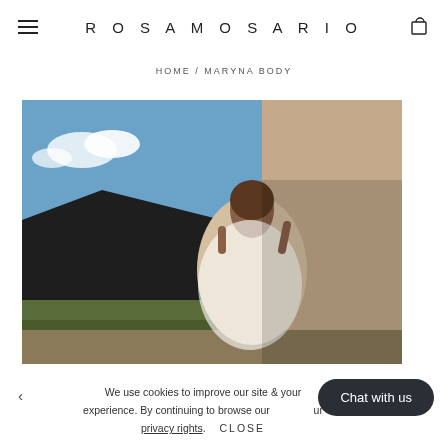ROSAMOSARIO
HOME / MARYNA BODY
[Figure (photo): Fashion editorial photo of a woman in a white lace/sheer outfit leaning against a concrete wall in a desert landscape with blue sky and rocky terrain in the background.]
We use cookies to improve our site and your experience. By continuing to browse our site you accept our privacy rights.  CLOSE